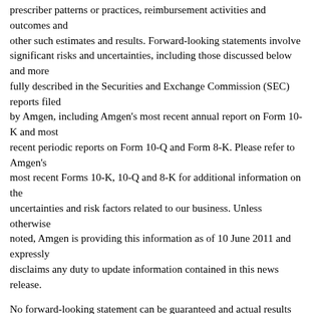prescriber patterns or practices, reimbursement activities and outcomes and other such estimates and results. Forward-looking statements involve significant risks and uncertainties, including those discussed below and more fully described in the Securities and Exchange Commission (SEC) reports filed by Amgen, including Amgen's most recent annual report on Form 10-K and most recent periodic reports on Form 10-Q and Form 8-K. Please refer to Amgen's most recent Forms 10-K, 10-Q and 8-K for additional information on the uncertainties and risk factors related to our business. Unless otherwise noted, Amgen is providing this information as of 10 June 2011 and expressly disclaims any duty to update information contained in this news release.
No forward-looking statement can be guaranteed and actual results may differ materially from those we project. Discovery or identification of new product candidates or development of new indications for existing